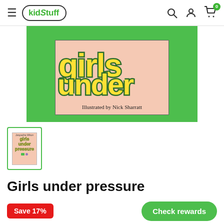kidStuff
[Figure (photo): Partial book cover of 'Girls under pressure' on a green background, showing yellow-outlined title text and 'Illustrated by Nick Sharratt' text on a peach background]
[Figure (thumbnail): Small thumbnail of the full book cover for 'Girls under pressure']
Girls under pressure
Save 17%
Check rewards